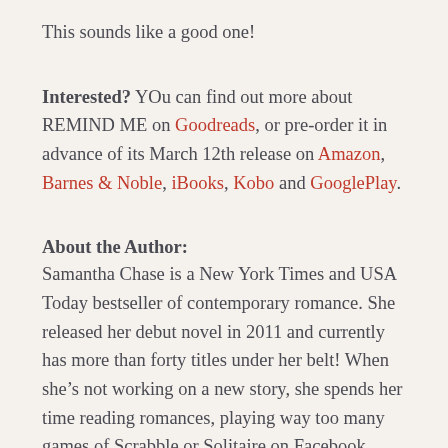This sounds like a good one!
Interested? YOu can find out more about REMIND ME on Goodreads, or pre-order it in advance of its March 12th release on Amazon, Barnes & Noble, iBooks, Kobo and GooglePlay.
About the Author:
Samantha Chase is a New York Times and USA Today bestseller of contemporary romance. She released her debut novel in 2011 and currently has more than forty titles under her belt! When she's not working on a new story, she spends her time reading romances, playing way too many games of Scrabble or Solitaire on Facebook, wearing a tiara while playing with her sassy pug Maylene...oh, and spending time with her husband of 25 years and